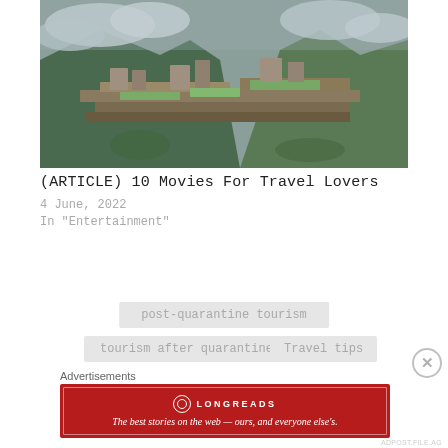[Figure (photo): Aerial view of Machu Picchu ruins surrounded by green mountains and cloudy sky]
(ARTICLE) 10 Movies For Travel Lovers
4 June, 2022
In "Entertainment"
post-quarantine tourism
tourism after quarantine
Travel tips
Advertisements
[Figure (logo): Longreads advertisement banner: The best stories on the web — ours, and everyone else's.]